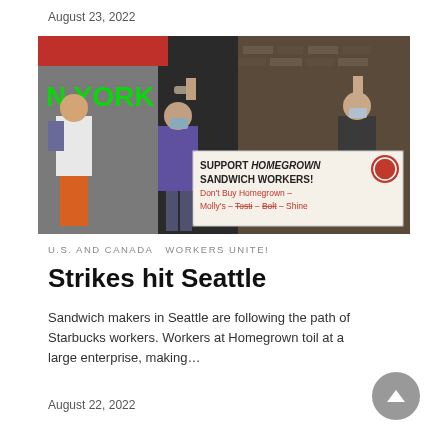August 23, 2022
[Figure (photo): Three people wearing masks standing in front of a storefront. Two of them are raising their fists. The central person holds a banner that reads: SUPPORT HOMEGROWN SANDWICH WORKERS! Don't Buy Homegrown – Molly's – Tosti – Bolt – Shine]
U.S. AND CANADA   WORKERS UNITE!
Strikes hit Seattle
Sandwich makers in Seattle are following the path of Starbucks workers. Workers at Homegrown toil at a large enterprise, making…
August 22, 2022